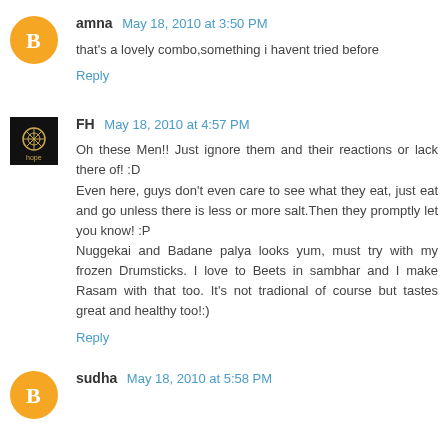amna May 18, 2010 at 3:50 PM
that's a lovely combo,something i havent tried before
Reply
FH May 18, 2010 at 4:57 PM
Oh these Men!! Just ignore them and their reactions or lack there of! :D
Even here, guys don't even care to see what they eat, just eat and go unless there is less or more salt.Then they promptly let you know! :P
Nuggekai and Badane palya looks yum, must try with my frozen Drumsticks. I love to Beets in sambhar and I make Rasam with that too. It's not tradional of course but tastes great and healthy too!:)
Reply
sudha May 18, 2010 at 5:58 PM